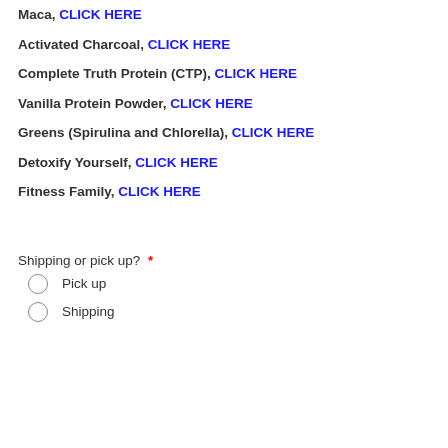Maca, CLICK HERE
Activated Charcoal, CLICK HERE
Complete Truth Protein (CTP), CLICK HERE
Vanilla Protein Powder, CLICK HERE
Greens (Spirulina and Chlorella), CLICK HERE
Detoxify Yourself, CLICK HERE
Fitness Family, CLICK HERE
Shipping or pick up? *
Pick up
Shipping